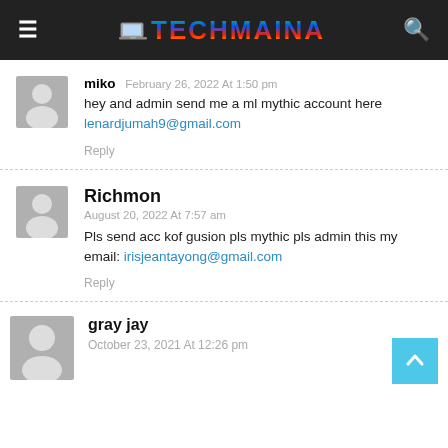TECHMAINA
miko  February 26, 2022 At 1:50 pm
hey and admin send me a ml mythic account here lenardjumah9@gmail.com
Reply
Richmon
August 20, 2022 At 7:57 am
Pls send acc kof gusion pls mythic pls admin this my email: irisjeantayong@gmail.com
Reply
gray jay
October 23, 2021 At 12:26 pm